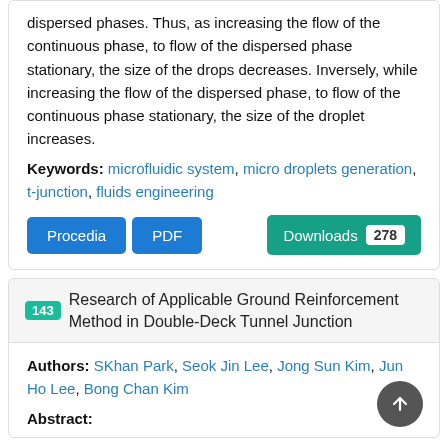dispersed phases. Thus, as increasing the flow of the continuous phase, to flow of the dispersed phase stationary, the size of the drops decreases. Inversely, while increasing the flow of the dispersed phase, to flow of the continuous phase stationary, the size of the droplet increases.
Keywords: microfluidic system, micro droplets generation, t-junction, fluids engineering
Procedia  PDF  Downloads 278
143 Research of Applicable Ground Reinforcement Method in Double-Deck Tunnel Junction
Authors: SKhan Park, Seok Jin Lee, Jong Sun Kim, Jun Ho Lee, Bong Chan Kim
Abstract: